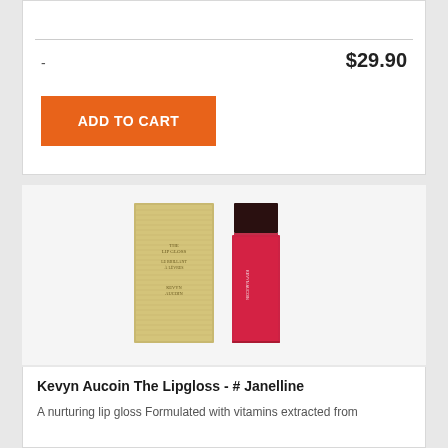-
$29.90
ADD TO CART
[Figure (photo): Kevyn Aucoin The Lipgloss product photo showing gold box packaging and red lip gloss tube with dark cap]
Kevyn Aucoin The Lipgloss - # Janelline
A nurturing lip gloss Formulated with vitamins extracted from